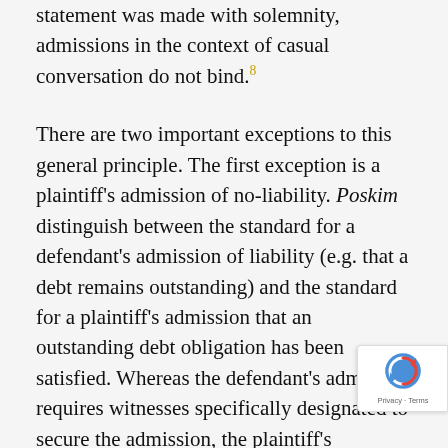statement was made with solemnity, admissions in the context of casual conversation do not bind.8
There are two important exceptions to this general principle. The first exception is a plaintiff's admission of no-liability. Poskim distinguish between the standard for a defendant's admission of liability (e.g. that a debt remains outstanding) and the standard for a plaintiff's admission that an outstanding debt obligation has been satisfied. Whereas the defendant's admission requires witnesses specifically designated to secure the admission, the plaintiff's admission of no-liability does not.9 One reason for this discrepancy is that it takes less to extinguish a claim than it does to generate a one. (For example, a verbal waiver—mechila suffices to extinguish a claim, but undertaking a